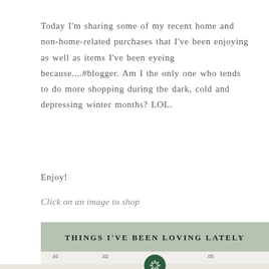Today I'm sharing some of my recent home and non-home-related purchases that I've been enjoying as well as items I've been eyeing because....#blogger. Am I the only one who tends to do more shopping during the dark, cold and depressing winter months? LOL.
Enjoy!
Click on an image to shop
[Figure (infographic): A sage green banner with the text 'THINGS I'VE BEEN LOVING LATELY' in bold uppercase letters, with a dark green circular emblem in the center bottom, and a row of numbered product images (.01, .02, .04, .05) along the bottom edge.]